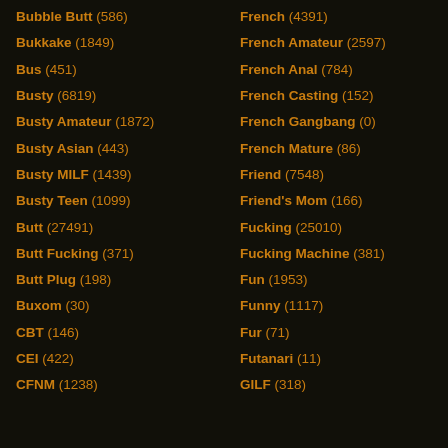Bubble Butt (586)
Bukkake (1849)
Bus (451)
Busty (6819)
Busty Amateur (1872)
Busty Asian (443)
Busty MILF (1439)
Busty Teen (1099)
Butt (27491)
Butt Fucking (371)
Butt Plug (198)
Buxom (30)
CBT (146)
CEI (422)
CFNM (1238)
French (4391)
French Amateur (2597)
French Anal (784)
French Casting (152)
French Gangbang (0)
French Mature (86)
Friend (7548)
Friend's Mom (166)
Fucking (25010)
Fucking Machine (381)
Fun (1953)
Funny (1117)
Fur (71)
Futanari (11)
GILF (318)